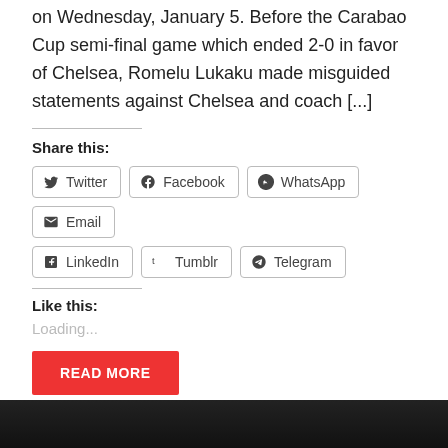on Wednesday, January 5. Before the Carabao Cup semi-final game which ended 2-0 in favor of Chelsea, Romelu Lukaku made misguided statements against Chelsea and coach [...]
Share this:
Twitter
Facebook
WhatsApp
Email
LinkedIn
Tumblr
Telegram
Like this:
Loading...
READ MORE
[Figure (photo): Dark image at the bottom of the page]